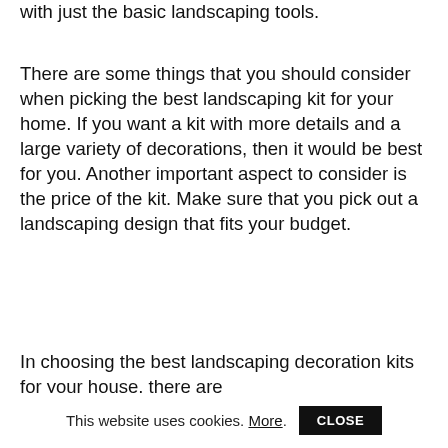with just the basic landscaping tools.
There are some things that you should consider when picking the best landscaping kit for your home. If you want a kit with more details and a large variety of decorations, then it would be best for you. Another important aspect to consider is the price of the kit. Make sure that you pick out a landscaping design that fits your budget.
In choosing the best landscaping decoration kits for your house, there are
This website uses cookies. More. CLOSE